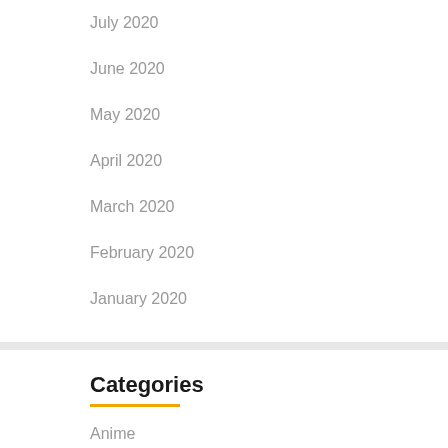July 2020
June 2020
May 2020
April 2020
March 2020
February 2020
January 2020
Categories
Anime
Applications
Automobile